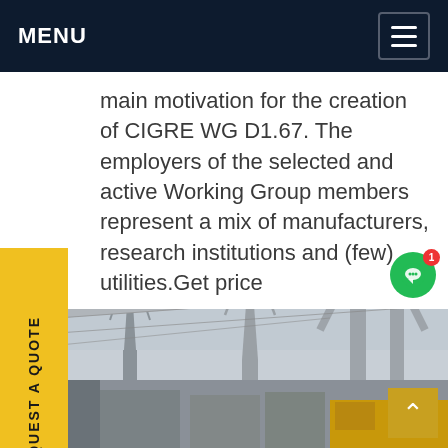MENU
main motivation for the creation of CIGRE WG D1.67. The employers of the selected and active Working Group members represent a mix of manufacturers, research institutions and (few) utilities.Get price
[Figure (photo): Electrical substation with high-voltage transmission line towers, transformers, and industrial equipment including a yellow vehicle in the foreground. Overcast sky.]
REQUEST A QUOTE